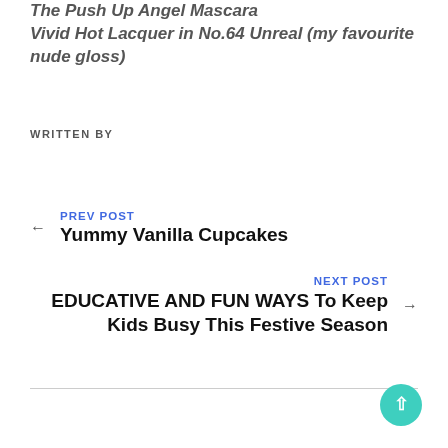The Push Up Angel Mascara
Vivid Hot Lacquer in No.64 Unreal (my favourite nude gloss)
WRITTEN BY
← PREV POST
Yummy Vanilla Cupcakes
NEXT POST →
EDUCATIVE AND FUN WAYS To Keep Kids Busy This Festive Season